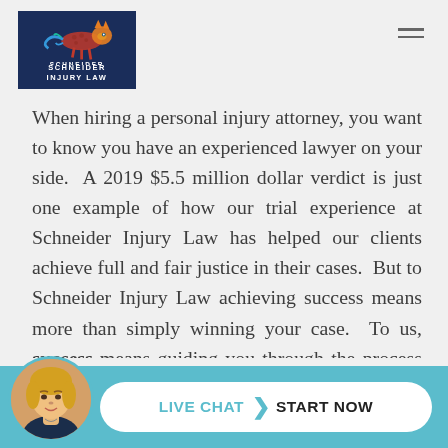[Figure (logo): Schneider Injury Law logo with dark blue background, stylized cheetah/leopard animal graphic, and white text reading SCHNEIDER INJURY LAW]
When hiring a personal injury attorney, you want to know you have an experienced lawyer on your side. A 2019 $5.5 million dollar verdict is just one example of how our trial experience at Schneider Injury Law has helped our clients achieve full and fair justice in their cases. But to Schneider Injury Law achieving success means more than simply winning your case. To us, success means guiding you through the process with compassion and respect; providing exceptional service and communication; and ultimately helping you mo... t th... with
[Figure (photo): Circular photo of a blonde woman, chat bar avatar for live chat widget]
LIVE CHAT  ❯  START NOW